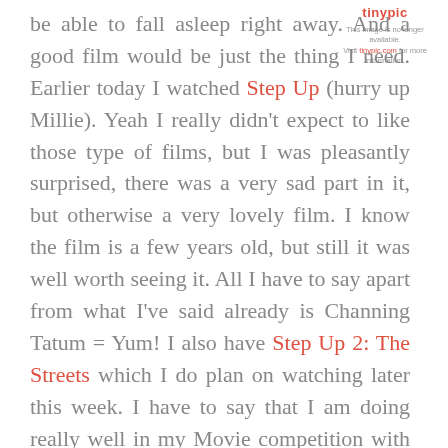[Figure (logo): Tinypic logo with message 'This image is no longer available. Visit tinypic.com for more information.']
be able to fall asleep right away. And a good film would be just the thing I need. Earlier today I watched Step Up (hurry up Millie). Yeah I really didn't expect to like those type of films, but I was pleasantly surprised, there was a very sad part in it, but otherwise a very lovely film. I know the film is a few years old, but still it was well worth seeing it. All I have to say apart from what I've said already is Channing Tatum = Yum! I also have Step Up 2: The Streets which I do plan on watching later this week. I have to say that I am doing really well in my Movie competition with Millie, haha, we are so keeping up with each other. There has been an odd occasion when I cannot find a film, but she helps me out, and vice versa. Oh yeah Millie is